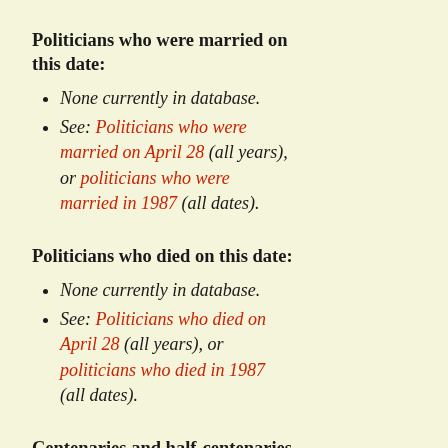Politicians who were married on this date:
None currently in database.
See: Politicians who were married on April 28 (all years), or politicians who were married in 1987 (all dates).
Politicians who died on this date:
None currently in database.
See: Politicians who died on April 28 (all years), or politicians who died in 1987 (all dates).
Centenaries and half-centenaries of the births and deaths of dead politicians on this date: